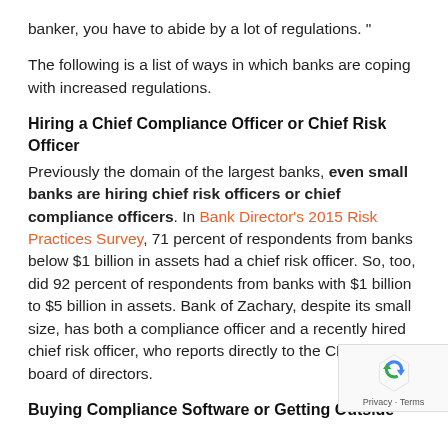banker, you have to abide by a lot of regulations. "
The following is a list of ways in which banks are coping with increased regulations.
Hiring a Chief Compliance Officer or Chief Risk Officer
Previously the domain of the largest banks, even small banks are hiring chief risk officers or chief compliance officers. In Bank Director’s 2015 Risk Practices Survey, 71 percent of respondents from banks below $1 billion in assets had a chief risk officer. So, too, did 92 percent of respondents from banks with $1 billion to $5 billion in assets. Bank of Zachary, despite its small size, has both a compliance officer and a recently hired chief risk officer, who reports directly to the CEO and board of directors.
Buying Compliance Software or Getting Outside